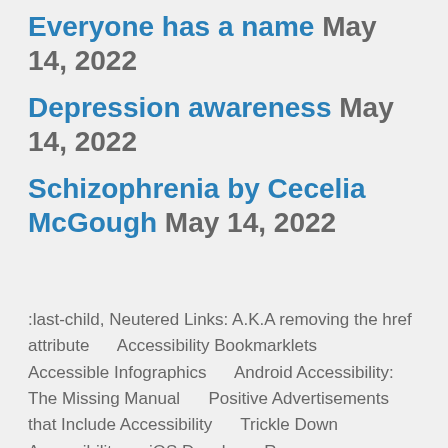Everyone has a name May 14, 2022
Depression awareness May 14, 2022
Schizophrenia by Cecelia McGough May 14, 2022
:last-child, Neutered Links: A.K.A removing the href attribute      Accessibility Bookmarklets      Accessible Infographics      Android Accessibility: The Missing Manual      Positive Advertisements that Include Accessibility      Trickle Down Accessibility      iOS Developer Resources      Accessibility Keywords for Data Mining      ARIA Label Bookmarklet: Start building...